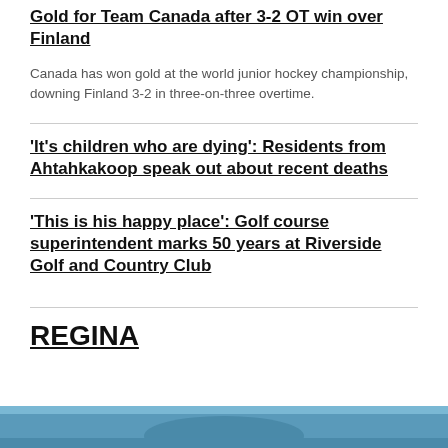Gold for Team Canada after 3-2 OT win over Finland
Canada has won gold at the world junior hockey championship, downing Finland 3-2 in three-on-three overtime.
'It's children who are dying': Residents from Ahtahkakoop speak out about recent deaths
'This is his happy place': Golf course superintendent marks 50 years at Riverside Golf and Country Club
REGINA
[Figure (photo): Outdoor photo, partially visible at bottom of page]